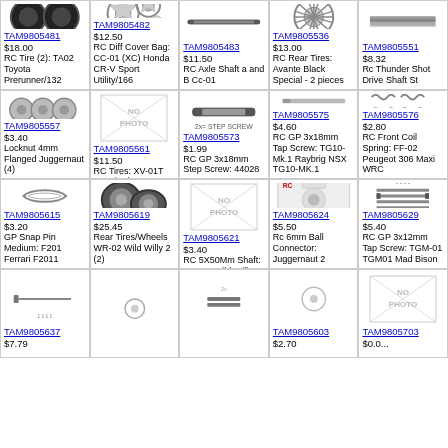| TAM9805481 $18.00 RC Tire (2): TA02 Toyota Prerunner/132 | TAM9805482 $12.50 RC Diff Cover Bag: CC-01 (XC) Honda CR-V Sport Utility/166 | TAM9805483 $11.50 RC Axle Shaft a and B Cc-01 | TAM9805536 $13.00 RC Rear Tires: Avante Black Special - 2 pieces | TAM9805551 $8.32 Rc Thunder Shot Drive Shaft St |
| TAM9805557 $3.40 Locknut 4mm Flanged Juggernaut (4) | TAM9805561 $11.50 RC Tires: XV-01T Asterion/DF-01 Blazing Star | TAM9805573 $1.99 RC GP 3x18mm Step Screw: 44028 | TAM9805575 $4.60 RC GP 3x18mm Tap Screw: TG10-Mk.1 Raybrig NSX TG10-MK.1 | TAM9805576 $2.80 RC Front Coil Spring: FF-02 Peugeot 306 Maxi WRC |
| TAM9805615 $3.20 GP Snap Pin Medium: F201 Ferrari F2011 | TAM9805619 $25.45 Rear Tires/Wheels WR-02 Wild Willy 2 (2) | TAM9805621 $3.40 RC 5X50Mm Shaft: WR-02 Wild Willy 2 | TAM9805624 $5.50 Rc 6mm Ball Connector: Juggernaut 2 | TAM9805629 $5.40 RC GP 3x12mm Tap Screw: TGM-01 TGM01 Mad Bison |
| TAM9805637 $7.79 ... | ... | ... | TAM9805603 $2.70 ... | TAM9805703 $0.0...  |